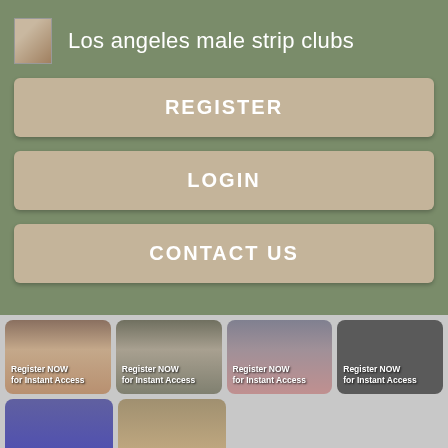Los angeles male strip clubs
REGISTER
LOGIN
CONTACT US
[Figure (screenshot): Grid of thumbnail images each with text 'Register NOW for Instant Access' overlaid]
[Figure (screenshot): Second row of thumbnail images each with text 'Register NOW for Instant Access' overlaid]